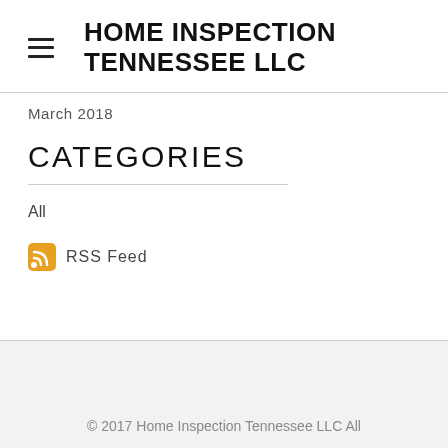HOME INSPECTION TENNESSEE LLC
March 2018
CATEGORIES
All
RSS Feed
© 2017 Home Inspection Tennessee LLC All